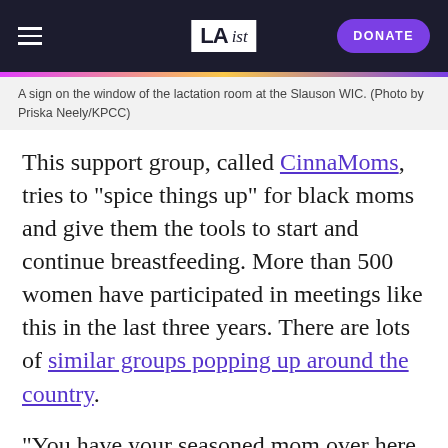LA ist | DONATE
A sign on the window of the lactation room at the Slauson WIC. (Photo by Priska Neely/KPCC)
This support group, called CinnaMoms, tries to "spice things up" for black moms and give them the tools to start and continue breastfeeding. More than 500 women have participated in meetings like this in the last three years. There are lots of similar groups popping up around the country.
"You have your seasoned mom over here who may be pregnant with her second child. And then I can see the prenatal mom over here, and they're having